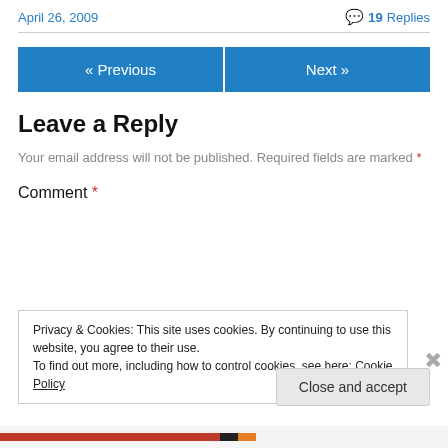April 26, 2009
💬 19 Replies
« Previous
Next »
Leave a Reply
Your email address will not be published. Required fields are marked *
Comment *
Privacy & Cookies: This site uses cookies. By continuing to use this website, you agree to their use. To find out more, including how to control cookies, see here: Cookie Policy
Close and accept